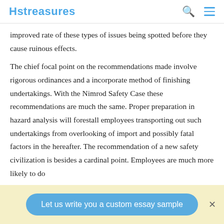Hstreasures
improved rate of these types of issues being spotted before they cause ruinous effects.
The chief focal point on the recommendations made involve rigorous ordinances and a incorporate method of finishing undertakings. With the Nimrod Safety Case these recommendations are much the same. Proper preparation in hazard analysis will forestall employees transporting out such undertakings from overlooking of import and possibly fatal factors in the hereafter. The recommendation of a new safety civilization is besides a cardinal point. Employees are much more likely to do
Let us write you a custom essay sample